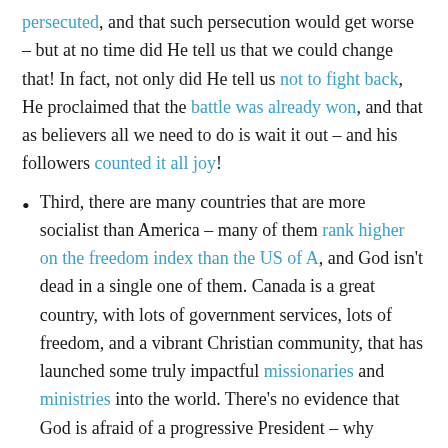persecuted, and that such persecution would get worse – but at no time did He tell us that we could change that! In fact, not only did He tell us not to fight back, He proclaimed that the battle was already won, and that as believers all we need to do is wait it out – and his followers counted it all joy!
Third, there are many countries that are more socialist than America – many of them rank higher on the freedom index than the US of A, and God isn't dead in a single one of them. Canada is a great country, with lots of government services, lots of freedom, and a vibrant Christian community, that has launched some truly impactful missionaries and ministries into the world. There's no evidence that God is afraid of a progressive President – why